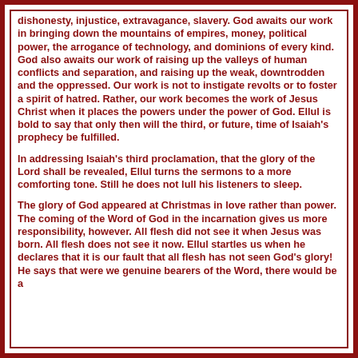dishonesty, injustice, extravagance, slavery. God awaits our work in bringing down the mountains of empires, money, political power, the arrogance of technology, and dominions of every kind. God also awaits our work of raising up the valleys of human conflicts and separation, and raising up the weak, downtrodden and the oppressed. Our work is not to instigate revolts or to foster a spirit of hatred. Rather, our work becomes the work of Jesus Christ when it places the powers under the power of God. Ellul is bold to say that only then will the third, or future, time of Isaiah's prophecy be fulfilled.
In addressing Isaiah's third proclamation, that the glory of the Lord shall be revealed, Ellul turns the sermons to a more comforting tone. Still he does not lull his listeners to sleep.
The glory of God appeared at Christmas in love rather than power. The coming of the Word of God in the incarnation gives us more responsibility, however. All flesh did not see it when Jesus was born. All flesh does not see it now. Ellul startles us when he declares that it is our fault that all flesh has not seen God's glory! He says that were we genuine bearers of the Word, there would be a